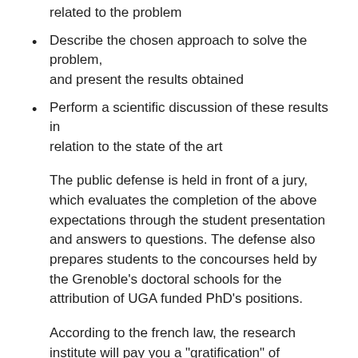related to the problem
Describe the chosen approach to solve the problem, and present the results obtained
Perform a scientific discussion of these results in relation to the state of the art
The public defense is held in front of a jury, which evaluates the completion of the above expectations through the student presentation and answers to questions. The defense also prepares students to the concourses held by the Grenoble's doctoral schools for the attribution of UGA funded PhD's positions.
According to the french law, the research institute will pay you a "gratification" of 530€/month during your research internship, for a maximum duration of 6 months in a given school year.